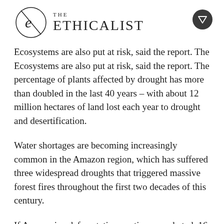THE ETHICALIST
Ecosystems are also put at risk, said the report. The percentage of plants affected by drought has more than doubled in the last 40 years – with about 12 million hectares of land lost each year to drought and desertification.
Water shortages are becoming increasingly common in the Amazon region, which has suffered three widespread droughts that triggered massive forest fires throughout the first two decades of this century.
If Amazonian deforestation continues unabated, 16